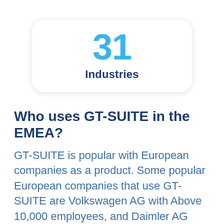[Figure (infographic): A rounded rectangle card showing the number '31' in large bold cyan text above the word 'Industries' in dark navy bold text]
Who uses GT-SUITE in the EMEA?
GT-SUITE is popular with European companies as a product. Some popular European companies that use GT-SUITE are Volkswagen AG with Above 10,000 employees, and Daimler AG with Above 10,000...